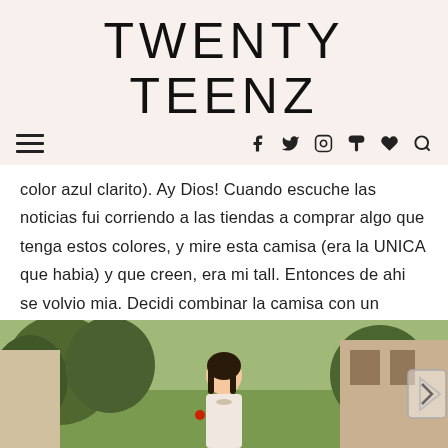TWENTY TEENZ
color azul clarito). Ay Dios! Cuando escuche las noticias fui corriendo a las tiendas a comprar algo que tenga estos colores, y mire esta camisa (era la UNICA que habia) y que creen, era mi tall. Entonces de ahi se volvio mia. Decidi combinar la camisa con un pantalon blanco para darle ese aspecto de limpia y sofisticada.
[Figure (photo): Photo of a woman standing outdoors in front of trees and a building, wearing light-colored clothing]